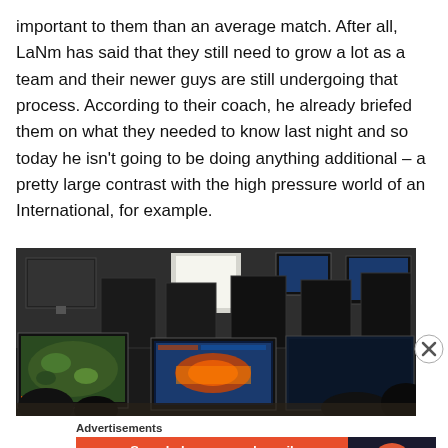important to them than an average match. After all, LaNm has said that they still need to grow a lot as a team and their newer guys are still undergoing that process. According to their coach, he already briefed them on what they needed to know last night and so today he isn't going to be doing anything additional – a pretty large contrast with the high pressure world of an International, for example.
[Figure (photo): Photo of a gaming room with multiple computer monitors and gaming setups, dark environment, players at computers playing games]
Advertisements
[Figure (screenshot): DuckDuckGo advertisement banner - orange background with text 'Search, browse, and email with more privacy. All in One Free App' and DuckDuckGo logo on dark right panel]